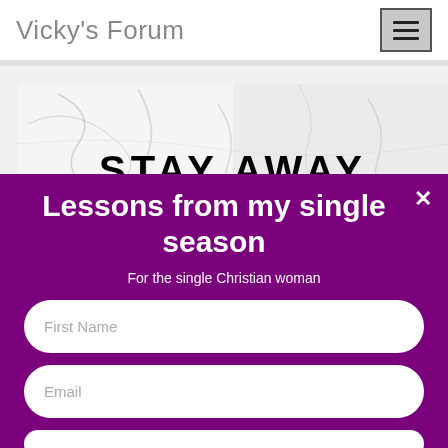Vicky's Forum
[Figure (screenshot): Website screenshot showing Vicky's Forum header with hamburger menu button, a marble-texture banner with 'STAY AWAY' text, and a purple modal popup for 'Lessons from my single season' with email signup form fields for First Name and Email]
Lessons from my single season
For the single Christian woman